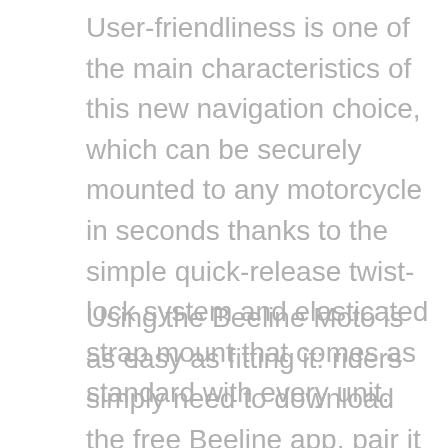User-friendliness is one of the main characteristics of this new navigation choice, which can be securely mounted to any motorcycle in seconds thanks to the simple quick-release twist-lock system and elasticated strap mount that comes as standard with every unit.
Using the Beeline Moto is as easy as fitting it: riders simply need to download the free Beeline app, pair it to the device, choose their destination